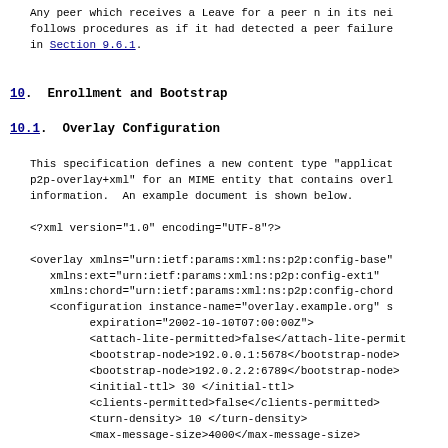Any peer which receives a Leave for a peer n in its nei follows procedures as if it had detected a peer failure in Section 9.6.1.
10.  Enrollment and Bootstrap
10.1.  Overlay Configuration
This specification defines a new content type "applicat p2p-overlay+xml" for an MIME entity that contains overl information.  An example document is shown below.
<?xml version="1.0" encoding="UTF-8"?>
<overlay xmlns="urn:ietf:params:xml:ns:p2p:config-base"
   xmlns:ext="urn:ietf:params:xml:ns:p2p:config-ext1"
   xmlns:chord="urn:ietf:params:xml:ns:p2p:config-chord
   <configuration instance-name="overlay.example.org" s
         expiration="2002-10-10T07:00:00Z">
         <attach-lite-permitted>false</attach-lite-permit
         <bootstrap-node>192.0.0.1:5678</bootstrap-node>
         <bootstrap-node>192.0.2.2:6789</bootstrap-node>
         <initial-ttl> 30 </initial-ttl>
         <clients-permitted>false</clients-permitted>
         <turn-density> 10 </turn-density>
         <max-message-size>4000</max-message-size>